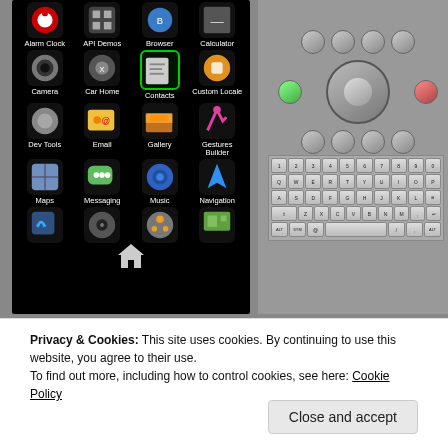[Figure (screenshot): Android emulator screenshot showing app drawer with icons (Alarm Clock, API Demos, Browser, Calculator, Camera, Car Home, Contacts (selected/highlighted with green border), Custom Locale, Dev Tools, Email, Gallery, Gestures Builder, Maps, Messaging, Music, Navigation, and more) on the left phone screen, and the Android emulator control panel with D-pad navigation buttons and QWERTY keyboard on the right side.]
Privacy & Cookies: This site uses cookies. By continuing to use this website, you agree to their use.
To find out more, including how to control cookies, see here: Cookie Policy
Close and accept